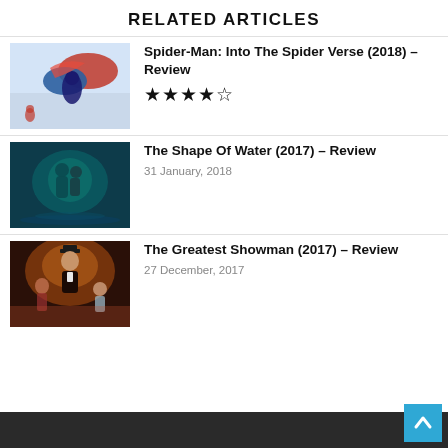RELATED ARTICLES
[Figure (illustration): Spider-Man: Into the Spider-Verse movie poster thumbnail showing an animated Spider-Man character flying through the air with red and blue costume elements against a sky background]
Spider-Man: Into The Spider Verse (2018) – Review
★★★★☆
[Figure (illustration): The Shape of Water movie poster thumbnail showing two figures embracing underwater in teal/dark tones]
The Shape Of Water (2017) – Review
31 January, 2018
[Figure (illustration): The Greatest Showman movie poster thumbnail showing a man in a top hat with dramatic lighting against a warm orange/pink background with other characters]
The Greatest Showman (2017) – Review
27 December, 2017